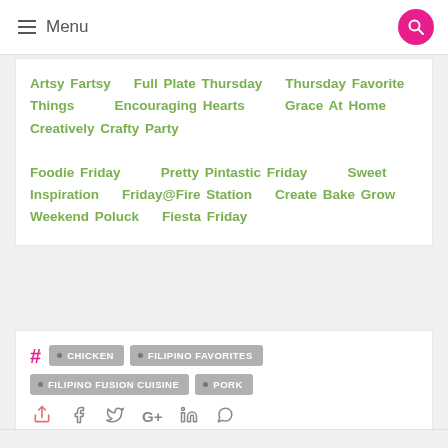Menu
Artsy Fartsy   Full Plate Thursday   Thursday Favorite Things   Encouraging Hearts   Grace At Home   Creatively Crafty Party
Foodie Friday   Pretty Pintastic Friday   Sweet Inspiration   Friday@Fire Station   Create Bake Grow   Weekend Poluck   Fiesta Friday
# CHICKEN  FILIPINO FAVORITES  FILIPINO FUSION CUISINE  PORK